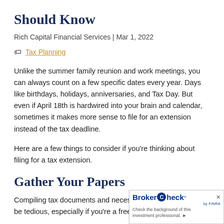Should Know
Rich Capital Financial Services | Mar 1, 2022
Tax Planning
Unlike the summer family reunion and work meetings, you can always count on a few specific dates every year. Days like birthdays, holidays, anniversaries, and Tax Day. But even if April 18th is hardwired into your brain and calendar, sometimes it makes more sense to file for an extension instead of the tax deadline.
Here are a few things to consider if you're thinking about filing for a tax extension.
Gather Your Papers
Compiling tax documents and necessary infor... be tedious, especially if you're a freelancer or m...
[Figure (other): BrokerCheck by FINRA widget — 'Check the background of this investment professional.']